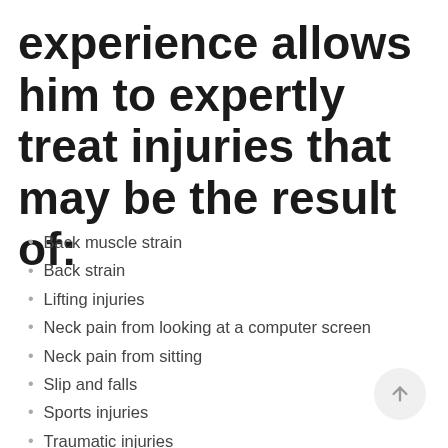experience allows him to expertly treat injuries that may be the result of:
Back muscle strain
Back strain
Lifting injuries
Neck pain from looking at a computer screen
Neck pain from sitting
Slip and falls
Sports injuries
Traumatic injuries
Twisting injuries
Whiplash